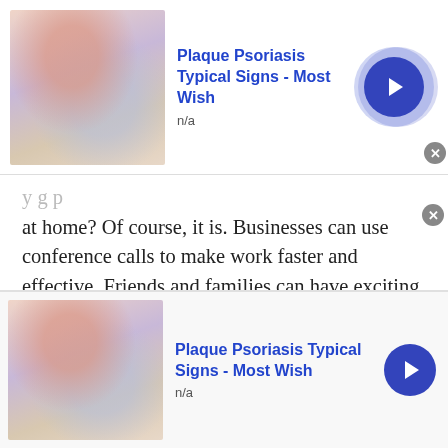[Figure (screenshot): Top advertisement banner showing a skin condition image thumbnail, bold blue title 'Plaque Psoriasis Typical Signs - Most Wish', subtitle 'n/a', and a dark blue circular arrow button with light purple halo, plus a gray close X button.]
at home? Of course, it is. Businesses can use conference calls to make work faster and effective. Friends and families can have exciting group conference calls where they can send greetings or invite people collectively in a group. Well, if still, you haven't tried this amazing feature then it's time to join TWS conference calls for free.
[Figure (screenshot): Cyan/teal back-to-top button with a dark upward chevron arrow, positioned at the lower right of the article area.]
Prank calls
[Figure (screenshot): Bottom advertisement banner showing same skin condition image thumbnail, bold blue title 'Plaque Psoriasis Typical Signs - Most Wish', subtitle 'n/a', and a dark blue circular arrow button, with a gray close X button at top right.]